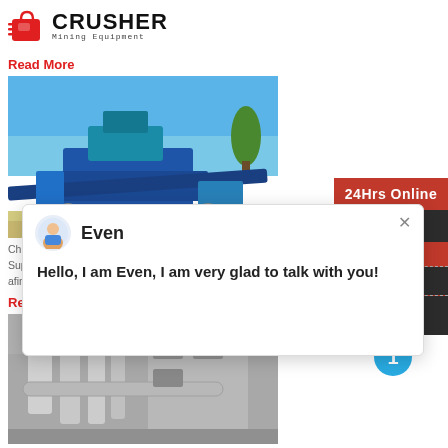[Figure (logo): Crusher Mining Equipment logo with red shopping bag icon and bold CRUSHER text]
Read More
[Figure (photo): Blue crushing/mining equipment machinery in an outdoor sandy/rocky setting with blue sky]
[Figure (screenshot): Chat popup with avatar of Even (female support agent), close button, and message: Hello, I am Even, I am very glad to talk with you!]
China Manufacturer Jaw Crusher A C120. Dolo Supplier Grinding Mill China china manufacturer afind qualified chinese crusherall of the popular
Read More
[Figure (photo): Industrial white pipes and building/mill structure, grey tones]
[Figure (infographic): Right sidebar with 24Hrs Online label, Need & suggestions chat panel, Chat Now button, Enquiry section, limingjlmofen@sina.com email, and blue badge with number 1]